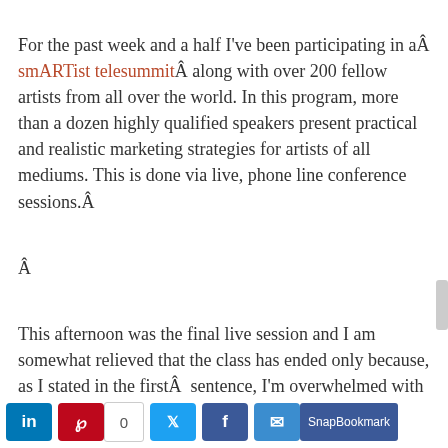For the past week and a half I've been participating in aÂ smARTist telesummitÂ along with over 200 fellow artists from all over the world. In this program, more than a dozen highly qualified speakers present practical and realistic marketing strategies for artists of all mediums. This is done via live, phone line conference sessions.Â
Â
This afternoon was the final live session and I am somewhat relieved that the class has ended only because, as I stated in the firstÂ  sentence, I’m overwhelmed with ideas and fully realize that NOW, I am responsible for choosing and implementing the marketing tools that best fit my art business goals. It’s time to sort out the choices, clarify my goals and create a realistic plan that outlines and addresses specific actions to get where I intend to be with my career in 6 months, a year, 5